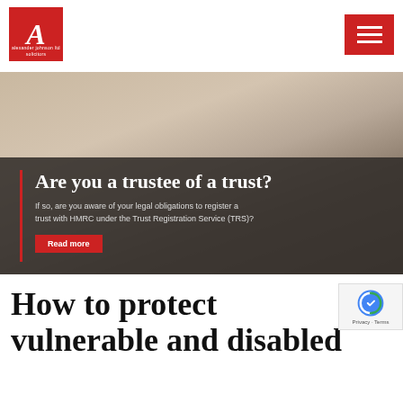[Figure (logo): Red square logo with stylized italic A letter and text 'alexander johnson ltd solicitors']
[Figure (other): Red hamburger/menu icon button with three white horizontal lines]
[Figure (photo): Banner image showing a pen resting on paper/document, with dark overlay containing text 'Are you a trustee of a trust?' and subtitle about HMRC Trust Registration Service, with a red Read more button]
How to protect vulnerable and disabled